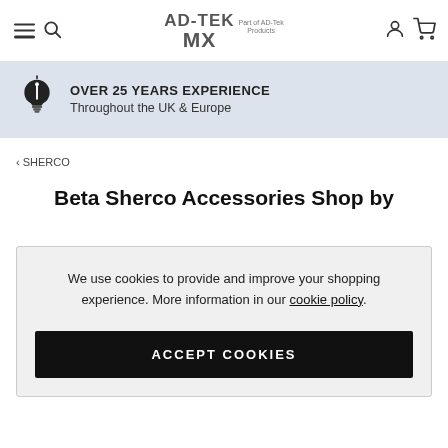AD-TEK MX Part of AD-Tek Products — navigation header with hamburger menu, search, logo, user account, cart icons
[Figure (infographic): Light bulb icon with text: OVER 25 YEARS EXPERIENCE Throughout the UK & Europe on a light blue banner background]
< SHERCO
Beta Sherco Accessories Shop by
We use cookies to provide and improve your shopping experience. More information in our cookie policy.
ACCEPT COOKIES